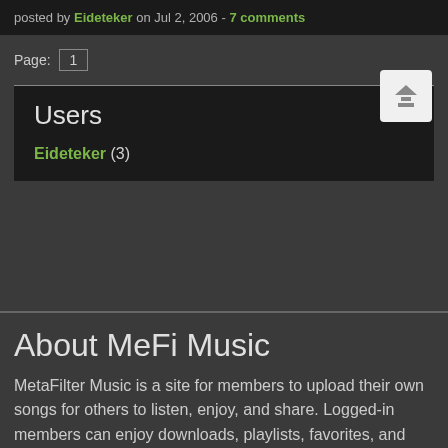posted by Eideteker on Jul 2, 2006 - 7 comments
Page: 1
Users
Eideteker (3)
About MeFi Music
MetaFilter Music is a site for members to upload their own songs for others to listen, enjoy, and share. Logged-in members can enjoy downloads, playlists, favorites, and